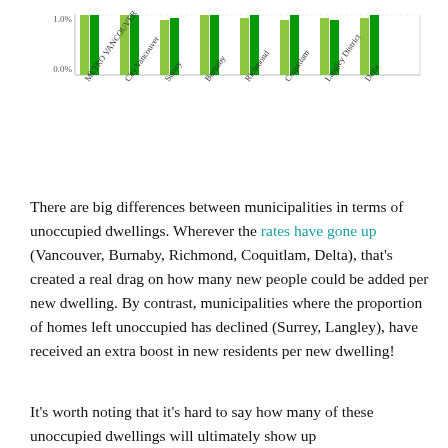[Figure (grouped-bar-chart): Unoccupied dwellings by municipality]
There are big differences between municipalities in terms of unoccupied dwellings. Wherever the rates have gone up (Vancouver, Burnaby, Richmond, Coquitlam, Delta), that's created a real drag on how many new people could be added per new dwelling. By contrast, municipalities where the proportion of homes left unoccupied has declined (Surrey, Langley), have received an extra boost in new residents per new dwelling!
It's worth noting that it's hard to say how many of these unoccupied dwellings will ultimately show up